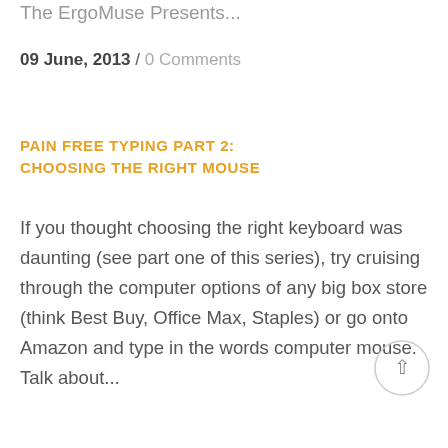The ErgoMuse Presents...
09 June, 2013 / 0 Comments
PAIN FREE TYPING PART 2: CHOOSING THE RIGHT MOUSE
If you thought choosing the right keyboard was daunting (see part one of this series), try cruising through the computer options of any big box store (think Best Buy, Office Max, Staples) or go onto Amazon and type in the words computer mouse. Talk about...